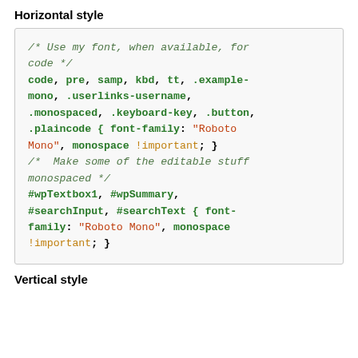Horizontal style
/* Use my font, when available, for code */
code, pre, samp, kbd, tt, .example-mono, .userlinks-username, .monospaced, .keyboard-key, .button, .plaincode { font-family: "Roboto Mono", monospace !important; }
/* Make some of the editable stuff monospaced */
#wpTextbox1, #wpSummary, #searchInput, #searchText { font-family: "Roboto Mono", monospace !important; }
Vertical style